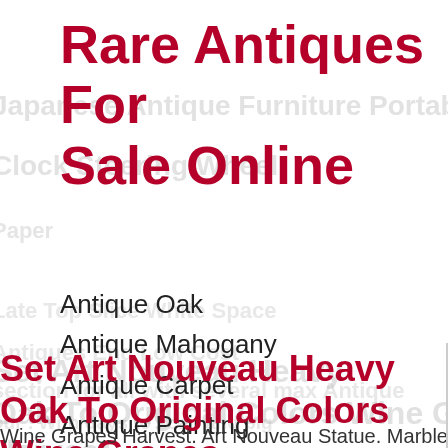Rare Antiques For Sale Online
Antique Oak
Antique Mahogany
Antique Carpet
Antique Painting
Antique Glass
Antique Plate
Set Art Nouveau Heavy Oak To Original Colors Wine Grapes Harvest
Wine Grapes Harvest. Art Nouveau Statue. Marble Base. White